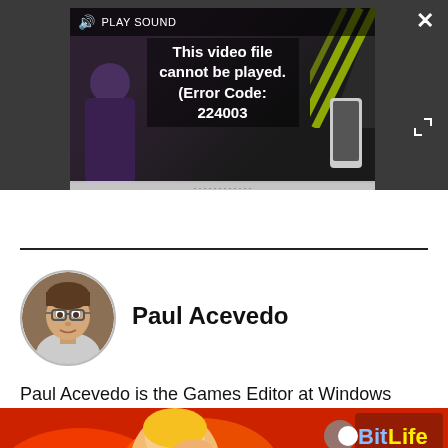[Figure (screenshot): Video player showing error: 'This video file cannot be played. (Error Code: 224003)' with PLAY SOUND button and dark background]
Paul Acevedo is the Games Editor at Windows
[Figure (photo): Circular profile photo of Paul Acevedo, a man with glasses]
Paul Acevedo
[Figure (other): BitLife advertisement banner: FAIL text, animated character, START A NEW LIFE button]